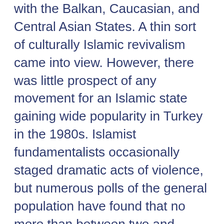with the Balkan, Caucasian, and Central Asian States. A thin sort of culturally Islamic revivalism came into view. However, there was little prospect of any movement for an Islamic state gaining wide popularity in Turkey in the 1980s. Islamist fundamentalists occasionally staged dramatic acts of violence, but numerous polls of the general population have found that no more than between two and seven per cent of Turks favored the establishment of a political order based on Islamic law. Throughout the 1980s, electoral returns gave Erbakan's Welfare Party no more than ten per cent of the popular vote nationally. Sometimes the spectre of an Iranian-style Islamic revolution was raised, but Turkey was not Iran. No one in any way resembled Khomeini.[26] The majority of Muslims in Turkey are consciously resistant to any sort of radical or fundamentalist Islamist movement. Even those who may be considered or consider themselves to be among the locally observant